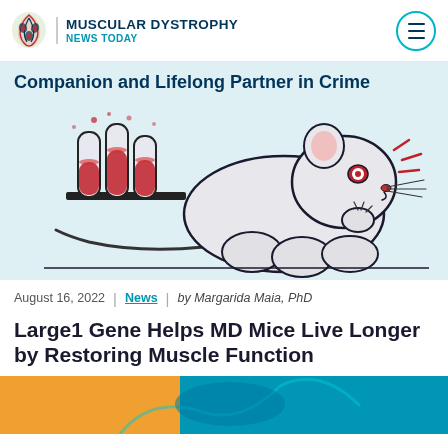MUSCULAR DYSTROPHY NEWS TODAY
Companion and Lifelong Partner in Crime
[Figure (illustration): Illustration of a large muscular mouse with red-tinged eyes next to three test tubes with red liquid in a rack, with red accent marks suggesting activity/energy]
August 16, 2022 | News | by Margarida Maia, PhD
Large1 Gene Helps MD Mice Live Longer by Restoring Muscle Function
[Figure (photo): Partial bottom image strip showing orange and teal/blue colors]